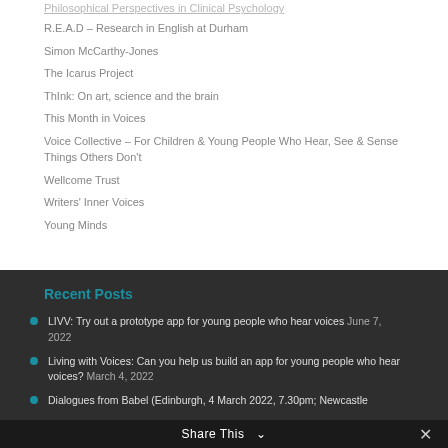Philosophical Perspectives in Clinical Psychology (partial/cut off at top)
R.E.A.D – Research in English at Durham
Simon McCarthy-Jones
The Icarus Project
ThInk: On art, science and the brain
This Month in Voices
Voice Collective – For Children & Young People Who Hear, See & Sense Things Others Don't
Wellcome Trust
Writers' Inner Voices
Young Minds
Recent Posts
LIVV: Try out a prototype app for young people who hear voices June 7, 2022
Living with Voices: Can you help us build an app for young people who hear voices? March 4, 2022
Dialogues from Babel (Edinburgh, 4 March 2022, 7.30pm; Newcastle
Share This ∨ ✕